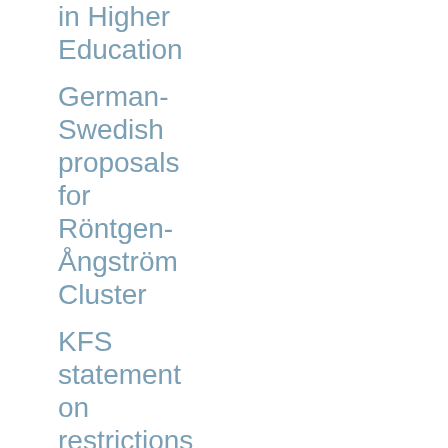in Higher Education
German-Swedish proposals for Röntgen-Ångström Cluster
KFS statement on restrictions of research in the pandemic
KFSI election in